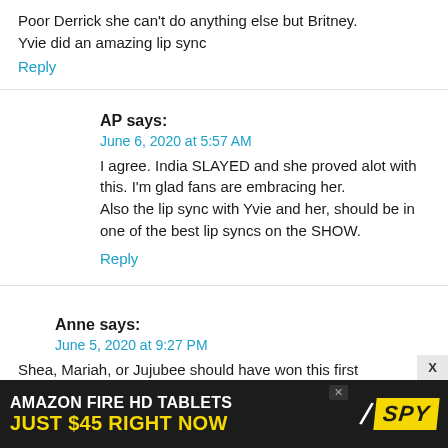Poor Derrick she can't do anything else but Britney.
Yvie did an amazing lip sync
Reply
AP says:
June 6, 2020 at 5:57 AM
I agree. India SLAYED and she proved alot with this. I'm glad fans are embracing her.
Also the lip sync with Yvie and her, should be in one of the best lip syncs on the SHOW.
Reply
Anne says:
June 5, 2020 at 9:27 PM
Shea, Mariah, or Jujubee should have won this first
[Figure (screenshot): Amazon Fire HD Tablets advertisement banner - black background with yellow text reading JUST $45 RIGHT NOW and SPY logo]